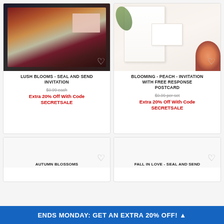[Figure (photo): Lush Blooms dark floral seal and send wedding invitation product card with dark floral design on black background]
LUSH BLOOMS - SEAL AND SEND INVITATION
$0.99 each
Extra 20% Off With Code SECRETSALE
[Figure (photo): Blooming Peach floral invitation with free response postcard product card, light peach/cream background with orange and red florals]
BLOOMING - PEACH - INVITATION WITH FREE RESPONSE POSTCARD
$0.99 per set
Extra 20% Off With Code SECRETSALE
[Figure (photo): Autumn Blossoms product card, partially visible]
AUTUMN BLOSSOMS
[Figure (photo): Fall In Love - Seal And Send product card, partially visible]
FALL IN LOVE - SEAL AND SEND
ENDS MONDAY: GET AN EXTRA 20% OFF! ▲